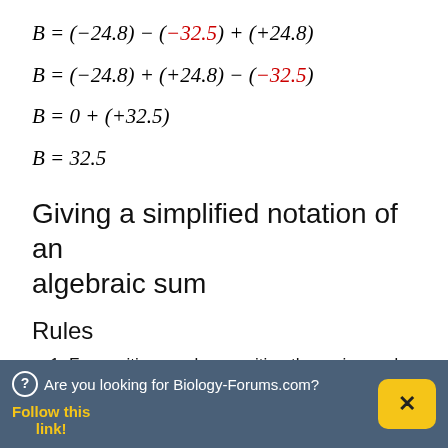Giving a simplified notation of an algebraic sum
Rules
1. For positive numbers, writing the + sign and parentheses is optional
Are you looking for Biology-Forums.com? Follow this link!